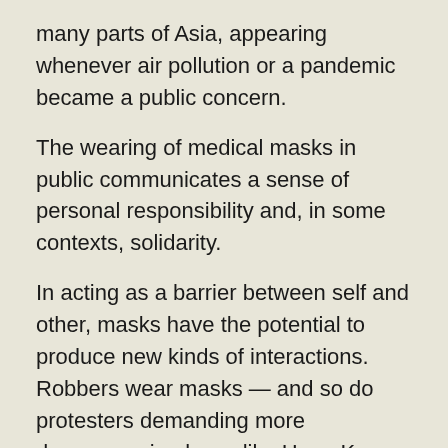many parts of Asia, appearing whenever air pollution or a pandemic became a public concern.
The wearing of medical masks in public communicates a sense of personal responsibility and, in some contexts, solidarity.
In acting as a barrier between self and other, masks have the potential to produce new kinds of interactions. Robbers wear masks — and so do protesters demanding more democracy in places like Hong Kong. Religiously observant Muslim women wear a kind of mask in public — and the very idea of masking one's face for